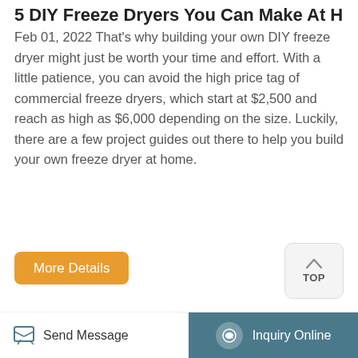5 DIY Freeze Dryers You Can Make At Home
Feb 01, 2022 That's why building your own DIY freeze dryer might just be worth your time and effort. With a little patience, you can avoid the high price tag of commercial freeze dryers, which start at $2,500 and reach as high as $6,000 depending on the size. Luckily, there are a few project guides out there to help you build your own freeze dryer at home.
[Figure (photo): A white residential freeze dryer machine with a round door and red indicator light]
Send Message | Inquiry Online